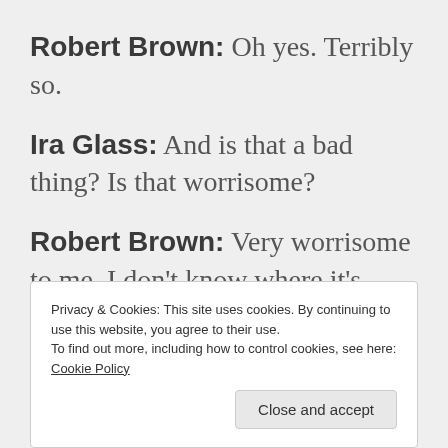Robert Brown: Oh yes. Terribly so.
Ira Glass: And is that a bad thing? Is that worrisome?
Robert Brown: Very worrisome to me. I don't know where it's going to end. Fortunately, I don't have to see too much more of it. You do. You'll have to see a lot of it.
Privacy & Cookies: This site uses cookies. By continuing to use this website, you agree to their use. To find out more, including how to control cookies, see here: Cookie Policy
Close and accept